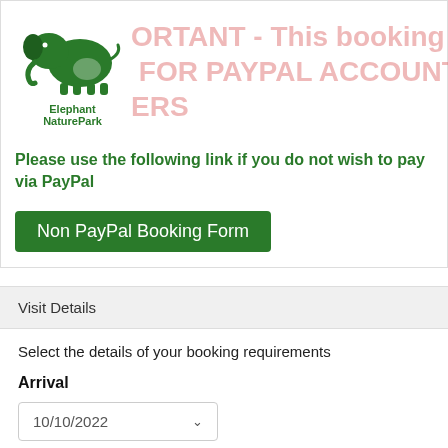[Figure (logo): Elephant NaturePark logo — green elephant illustration with text 'Elephant NaturePark' below]
IMPORTANT - This booking form is FOR PAYPAL ACCOUNT HOLDERS
Please use the following link if you do not wish to pay via PayPal
Non PayPal Booking Form
Visit Details
Select the details of your booking requirements
Arrival
10/10/2022